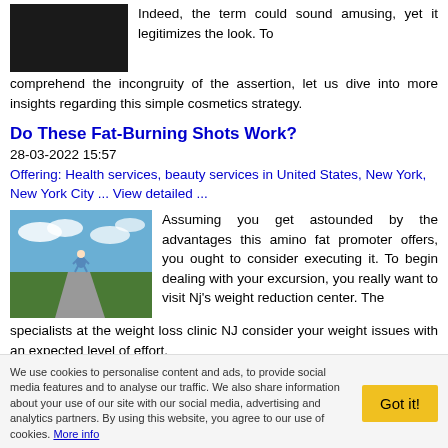[Figure (photo): Dark/black rectangular image placeholder at top left]
Indeed, the term could sound amusing, yet it legitimizes the look. To comprehend the incongruity of the assertion, let us dive into more insights regarding this simple cosmetics strategy.
Do These Fat-Burning Shots Work?
28-03-2022 15:57
Offering: Health services, beauty services in United States, New York, New York City ... View detailed ...
[Figure (photo): Person jogging on a road through a green landscape with blue sky]
Assuming you get astounded by the advantages this amino fat promoter offers, you ought to consider executing it. To begin dealing with your excursion, you really want to visit Nj's weight reduction center. The specialists at the weight loss clinic NJ consider your weight issues with an expected level of effort.
Benefits of VoIP Billing Software for Organizations
We use cookies to personalise content and ads, to provide social media features and to analyse our traffic. We also share information about your use of our site with our social media, advertising and analytics partners. By using this website, you agree to our use of cookies. More info